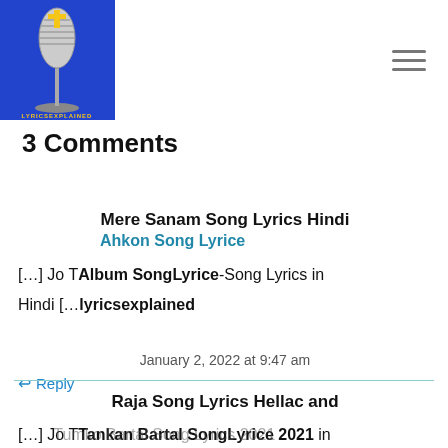[Figure (logo): Lyrics Explained website logo: blue background with a vintage microphone image and text LYRICSEXPLAINED]
3 Comments
Mere Sanam Song Lyrics Hindi
[...] Jo Tum Ko Na Lage Song Lyrics-Song Lyrics in Hindi [...]
lyricsexplained
January 2, 2022 at 9:47 am
Reply
Raja Song Lyrics Hellac and
[...] Jo Tumko Bartal Song Lyrics 2021 in